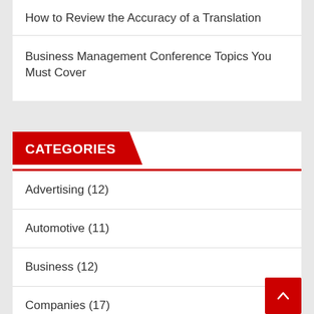How to Review the Accuracy of a Translation
Business Management Conference Topics You Must Cover
CATEGORIES
Advertising (12)
Automotive (11)
Business (12)
Companies (17)